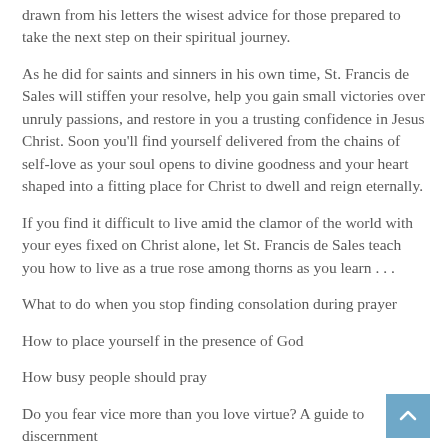drawn from his letters the wisest advice for those prepared to take the next step on their spiritual journey.
As he did for saints and sinners in his own time, St. Francis de Sales will stiffen your resolve, help you gain small victories over unruly passions, and restore in you a trusting confidence in Jesus Christ. Soon you'll find yourself delivered from the chains of self-love as your soul opens to divine goodness and your heart shaped into a fitting place for Christ to dwell and reign eternally.
If you find it difficult to live amid the clamor of the world with your eyes fixed on Christ alone, let St. Francis de Sales teach you how to live as a true rose among thorns as you learn . . .
What to do when you stop finding consolation during prayer
How to place yourself in the presence of God
How busy people should pray
Do you fear vice more than you love virtue? A guide to discernment